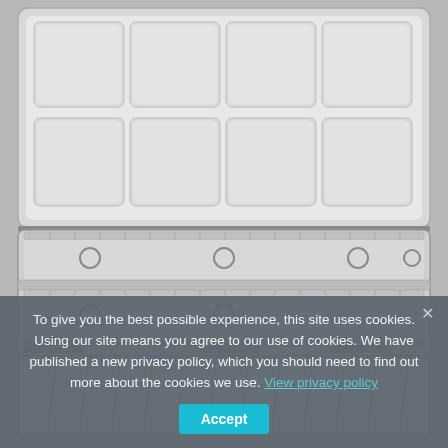[Figure (photo): An open watercolor palette/paint box shown from above. The top lid is open revealing large rectangular mixing wells. The middle section shows two rows of half-pan slots with circular thumb rests. The bottom section shows individual paint pan slots. The palette is white/light grey plastic or enamel.]
To give you the best possible experience, this site uses cookies. Using our site means you agree to our use of cookies. We have published a new privacy policy, which you should need to find out more about the cookies we use. View privacy policy  Accept